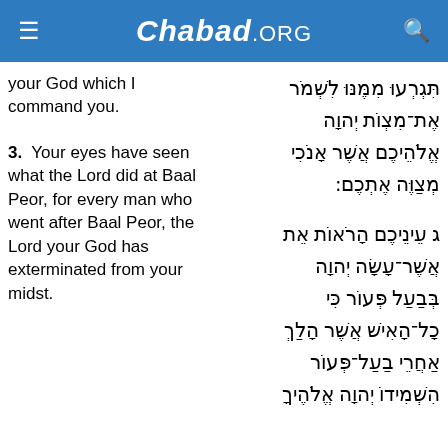Chabad.ORG
your God which I command you.
תִּגְרְעוּ מִמֶּנּוּ לִשְׁמֹר אֶת־מִצְוֺת יְהוָה אֱלֹהֵיכֶם אֲשֶׁר אָנֹכִי מְצַוֶּה אֶתְכֶם:
3.  Your eyes have seen what the Lord did at Baal Peor, for every man who went after Baal Peor, the Lord your God has exterminated from your midst.
ג עֵינֵיכֶם הָרֹאוֹת אֵת אֲשֶׁר־עָשָׂה יְהוָה בְּבַעַל פְּעוֹר כִּי כָל־הָאִישׁ אֲשֶׁר הָלַךְ אַחֲרֵי בַעַל־פְּעוֹר הִשְׁמִידוֹ יְהוָה אֱלֹהֶיךָ